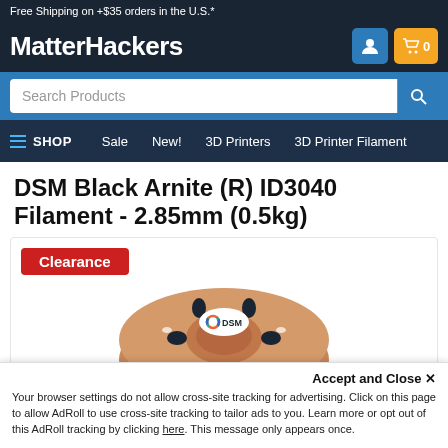Free Shipping on +$35 orders in the U.S.*
[Figure (logo): MatterHackers logo in white text on dark background with user icon and cart icon showing 0 items]
[Figure (screenshot): Search Products input bar with blue search button]
SHOP  Sale  New!  3D Printers  3D Printer Filament
DSM Black Arnite (R) ID3040 Filament - 2.85mm (0.5kg)
[Figure (photo): Product image area showing a Clearance badge and a brown filament spool with DSM logo on a white background]
Accept and Close ✕
Your browser settings do not allow cross-site tracking for advertising. Click on this page to allow AdRoll to use cross-site tracking to tailor ads to you. Learn more or opt out of this AdRoll tracking by clicking here. This message only appears once.